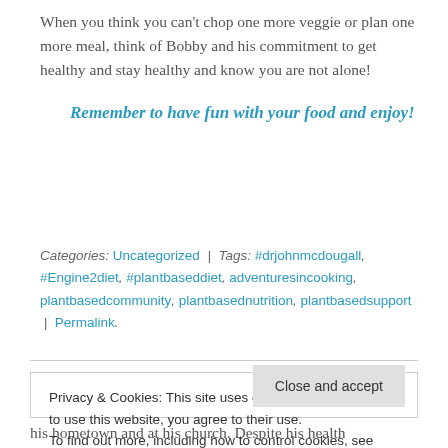When you think you can’t chop one more veggie or plan one more meal, think of Bobby and his commitment to get healthy and stay healthy and know you are not alone!
Remember to have fun with your food and enjoy!
Categories: Uncategorized | Tags: #drjohnmcdougall, #Engine2diet, #plantbaseddiet, adventuresincooking, plantbasedcommunity, plantbasednutrition, plantbasedsupport | Permalink.
Privacy & Cookies: This site uses cookies. By continuing to use this website, you agree to their use.
To find out more, including how to control cookies, see here: Cookie Policy
his hometown and at his church. Despite his health